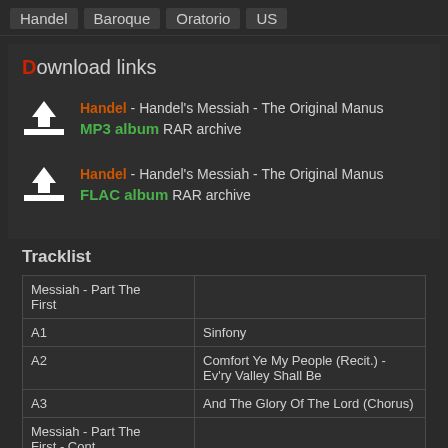Handel  Baroque  Oratorio  US
Download links
Handel - Handel's Messiah - The Original Manus MP3 album RAR archive
Handel - Handel's Messiah - The Original Manus FLAC album RAR archive
Tracklist
|  |  |
| --- | --- |
| Messiah - Part The First |  |
| A1 | Sinfony |
| A2 | Comfort Ye My People (Recit.) - Ev'ry Valley Shall Be |
| A3 | And The Glory Of The Lord (Chorus) |
| Messiah - Part The First - Cont. |  |